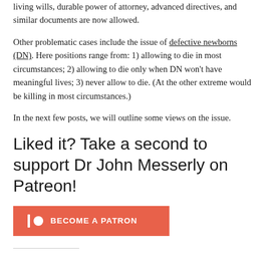living wills, durable power of attorney, advanced directives, and similar documents are now allowed.
Other problematic cases include the issue of defective newborns (DN). Here positions range from: 1) allowing to die in most circumstances; 2) allowing to die only when DN won't have meaningful lives; 3) never allow to die. (At the other extreme would be killing in most circumstances.)
In the next few posts, we will outline some views on the issue.
Liked it? Take a second to support Dr John Messerly on Patreon!
[Figure (other): Patreon 'Become a Patron' button in orange/red color with Patreon logo icon]
---